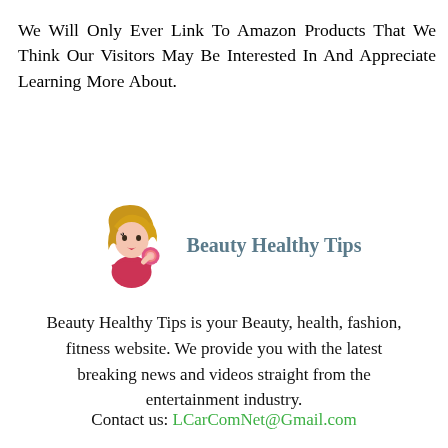We Will Only Ever Link To Amazon Products That We Think Our Visitors May Be Interested In And Appreciate Learning More About.
[Figure (illustration): Cartoon illustration of a blonde woman in a pink top holding a compact mirror, next to the text 'Beauty Healthy Tips' in teal/slate color]
Beauty Healthy Tips is your Beauty, health, fashion, fitness website. We provide you with the latest breaking news and videos straight from the entertainment industry.
Contact us: LCarComNet@Gmail.com